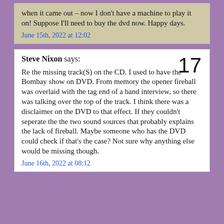when it came out – now I don't have a machine to play it on! Suppose I'll need to buy the dvd now. Happy days.
June 15th, 2022 at 12:02
Steve Nixon says: 17
Re the missing track(S) on the CD. I used to have the Bombay show on DVD. From memory the opener fireball was overlaid with the tag end of a band interview, so there was talking over the top of the track. I think there was a disclaimer on the DVD to that effect. If they couldn't seperate the the two sound sources that probably explains the lack of fireball. Maybe someone who has the DVD could check if that's the case? Not sure why anything else would be missing though.
June 16th, 2022 at 08:12